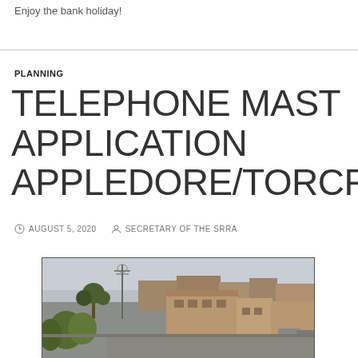Enjoy the bank holiday!
PLANNING
TELEPHONE MAST APPLICATION APPLEDORE/TORCROSS
AUGUST 5, 2020   SECRETARY OF THE SRRA
[Figure (photo): Photograph of residential street with brick terraced houses, trees, and a tall telephone/utility mast visible on the left side against an overcast sky]